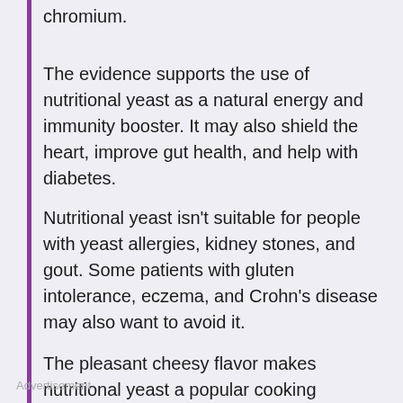chromium.
The evidence supports the use of nutritional yeast as a natural energy and immunity booster. It may also shield the heart, improve gut health, and help with diabetes.
Nutritional yeast isn't suitable for people with yeast allergies, kidney stones, and gout. Some patients with gluten intolerance, eczema, and Crohn's disease may also want to avoid it.
The pleasant cheesy flavor makes nutritional yeast a popular cooking ingredient. Try it on your popcorn, macaroni, potatoes, mushrooms, or pasta.
Advertisement